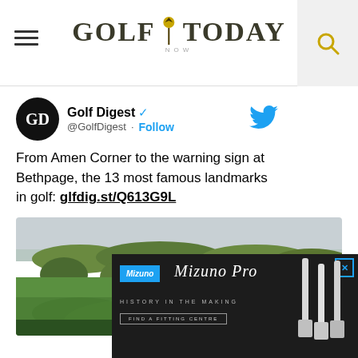GOLF TODAY
[Figure (screenshot): Golf Today website header with hamburger menu, Golf Today logo, and search icon]
[Figure (screenshot): Golf Digest tweet: From Amen Corner to the warning sign at Bethpage, the 13 most famous landmarks in golf: glfdig.st/Q613G9L]
[Figure (photo): Aerial view of a golf course with green fairways and trees in the background]
[Figure (screenshot): Mizuno Pro advertisement - History in the Making, Find a Fitting Centre]